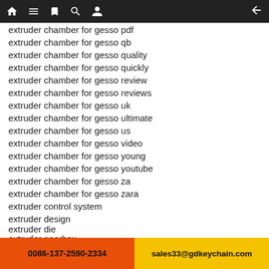Navigation bar with home, menu, bookmark, search, profile, and back icons
extruder chamber for gesso pdf
extruder chamber for gesso qb
extruder chamber for gesso quality
extruder chamber for gesso quickly
extruder chamber for gesso review
extruder chamber for gesso reviews
extruder chamber for gesso uk
extruder chamber for gesso ultimate
extruder chamber for gesso us
extruder chamber for gesso video
extruder chamber for gesso young
extruder chamber for gesso youtube
extruder chamber for gesso za
extruder chamber for gesso zara
extruder control system
extruder design
extruder die
extruder gearbox
extruder in chinese language
extruder liposome
extruder machine
extruder machine manufacturer
extruder machine manufacturer in ahmedabad
0086-137-2590-2334   sales33@gdkeychain.com